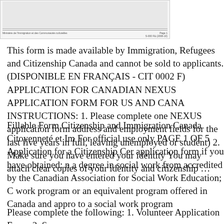[Figure (screenshot): Scanned image of a Canadian immigration form page footer showing 'Ministère de l'Immigration et des Communautés culturelles' on the left and 'Page 1' and form number on the right.]
This form is made available by Immigration, Refugees and Citizenship Canada and cannot be sold to applicants. (DISPONIBLE EN FRANÇAIS - CIT 0002 F) APPLICATION FOR CANADIAN NEXUS APPLICATION FORM FOR US AND CANA INSTRUCTIONS: 1. Please complete one NEXUS application form address and employment fields for the last five years in full, leaving unemployed or student) 2. Make sure you have entered your identity You may attach clear copies of your identity and citizenship …
Fillable Form Citizenship and Immigration Canada Citoyenneté et Im For official use only PAGE 1 OF 5 Application for a Citizenship Cer application form if you have obtained: n a degree in social work from accredited by the Canadian Association for Social Work Education; C work program or an equivalent program offered in Canada and appro to a social work program
Please complete the following: 1. Volunteer Application Form. 2. Ser